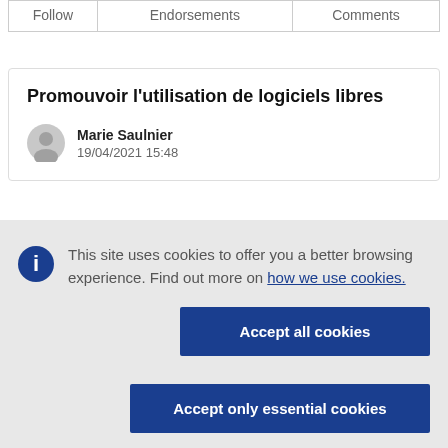| Follow | Endorsements | Comments |
| --- | --- | --- |
Promouvoir l'utilisation de logiciels libres
Marie Saulnier
19/04/2021 15:48
This site uses cookies to offer you a better browsing experience. Find out more on how we use cookies.
Accept all cookies
Accept only essential cookies